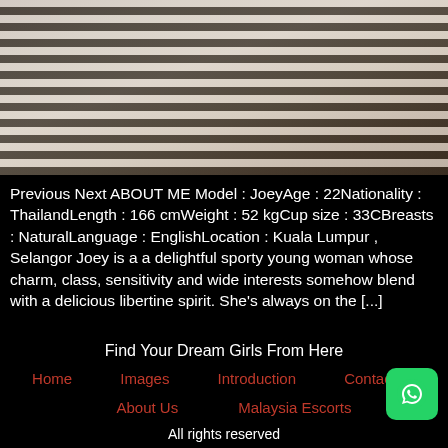[Figure (photo): Photo of a young woman in a black and white striped top, partial view from neck to waist, outdoor background]
Previous Next ABOUT ME Model : JoeyAge : 22Nationality : ThailandLength : 166 cmWeight : 52 kgCup size : 33CBreasts : NaturalLanguage : EnglishLocation : Kuala Lumpur , Selangor Joey is a a delightful sporty young woman whose charm, class, sensitivity and wide interests somehow blend with a delicious libertine spirit. She's always on the [...]
Find Your Dream Girls From Here
Home    Images    Introduction    Contact us
About Us    Malaysia Escorts
All rights reserved